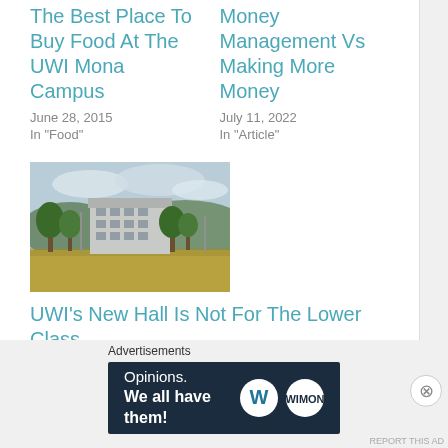The Best Place To Buy Food At The UWI Mona Campus
June 28, 2015
In "Food"
Money Management Vs Making More Money
July 11, 2022
In "Article"
[Figure (photo): Exterior view of a university building with green trees and an open grassy field in the foreground under a cloudy sky.]
UWI's New Hall Is Not For The Lower Class
May 22, 2015
In "Accommodation"
Advertisements
Opinions. We all have them!